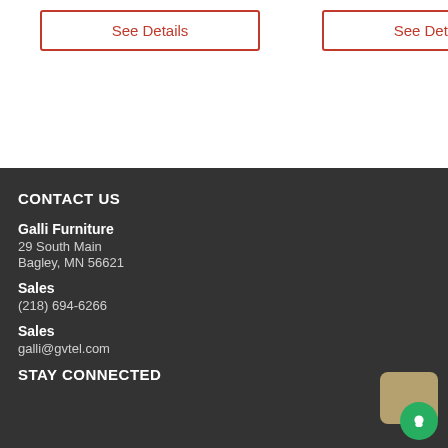See Details
See Details
CONTACT US
Galli Furniture
29 South Main
Bagley, MN 56621
Sales
(218) 694-6266
Sales
galli@gvtel.com
STAY CONNECTED